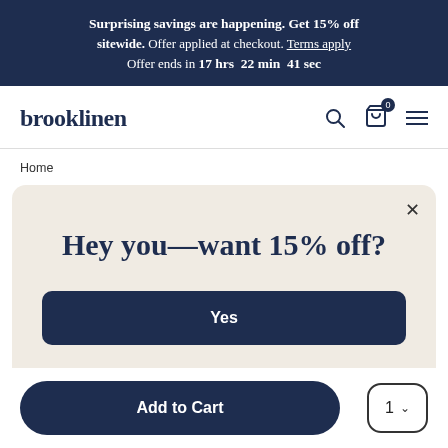Surprising savings are happening. Get 15% off sitewide. Offer applied at checkout. Terms apply. Offer ends in 17 hrs 22 min 41 sec
[Figure (screenshot): Brooklinen logo with navigation icons: search, cart (0 items), and hamburger menu]
Home
Hey you—want 15% off?
Yes
Add to Cart
1